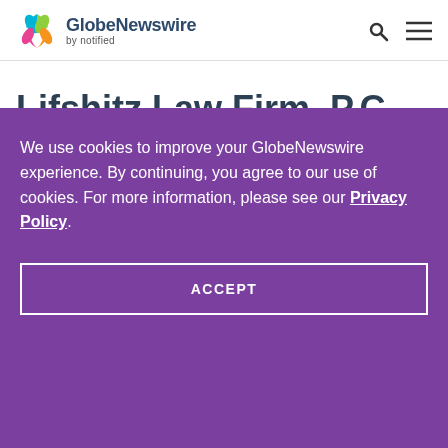GlobeNewswire by notified
Lifshitz Law Firm, P.C.
We use cookies to improve your GlobeNewswire experience. By continuing, you agree to our use of cookies. For more information, please see our Privacy Policy.
ACCEPT